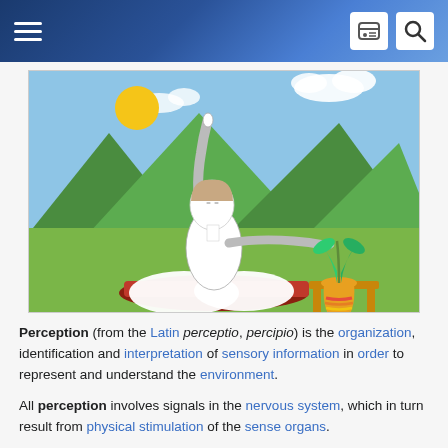Wikipedia mobile header with hamburger menu and search/account icons
[Figure (illustration): Illustration of a woman in a yoga pose (seated, one arm raised, one extended outward) on a red mat, set against a green landscape background with mountains, a sun, clouds, and a rainbow-colored vase on a table to the right.]
Perception (from the Latin perceptio, percipio) is the organization, identification and interpretation of sensory information in order to represent and understand the environment.
All perception involves signals in the nervous system, which in turn result from physical stimulation of the sense organs.